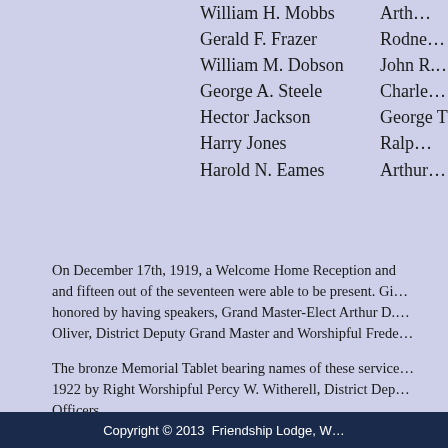William H. Mobbs
Gerald F. Frazer
William M. Dobson
George A. Steele
Hector Jackson
Harry Jones
Harold N. Eames
Arth...
Rodne...
John R....
Charle...
George T...
Ralp...
Arthur...
On December 17th, 1919, a Welcome Home Reception and and fifteen out of the seventeen were able to be present. Gi... honored by having speakers, Grand Master-Elect Arthur D. Oliver, District Deputy Grand Master and Worshipful Frede...
The bronze Memorial Tablet bearing names of these service... 1922 by Right Worshipful Percy W. Witherell, District Dep... Officers.
Part 3 Next >>
Copyright © 2013  Friendship Lodge, W...